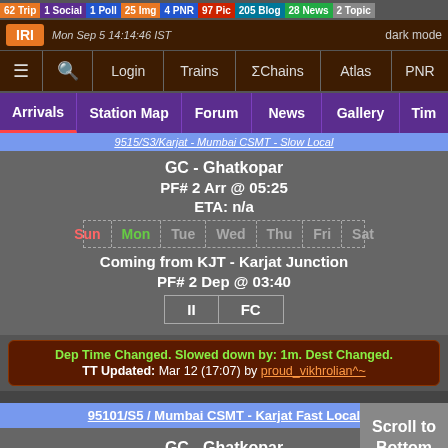62 Trip | 1 Social | 1 Poll | 25 Img | 4 PNR | 97 Pic | 205 Blog | 28 News | 2 Topic
[Figure (screenshot): Website navigation header with logo, dark mode toggle, and nav links: Login, Trains, ΣChains, Atlas, PNR]
[Figure (screenshot): Sub-navigation bar with: Arrivals, Station Map, Forum, News, Gallery, Tim]
9515/S3/Karjat - Mumbai CSMT - Slow Local
GC - Ghatkopar
PF# 2 Arr @ 05:25
ETA: n/a
Sun Mon Tue Wed Thu Fri Sat
Coming from KJT - Karjat Junction
PF# 2 Dep @ 03:40
II  FC
Dep Time Changed. Slowed down by: 1m. Dest Changed.
TT Updated: Mar 12 (17:07) by proud_vikhrolian^~
95101/S5 / Mumbai CSMT - Karjat Fast Local
GC - Ghatkopar
PF# 3 Arr @ 06:10
Scroll to Bottom